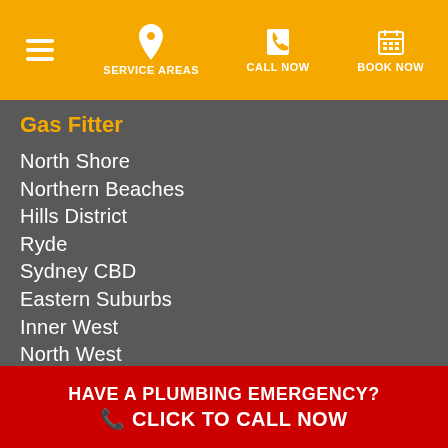SERVICE AREAS | CALL NOW | BOOK NOW
Gas Fitter
North Shore
Northern Beaches
Hills District
Ryde
Sydney CBD
Eastern Suburbs
Inner West
North West
Blacktown
Greater Western Sydney
Canterbury Bankstown
Camden
HAVE A PLUMBING EMERGENCY? CLICK TO CALL NOW